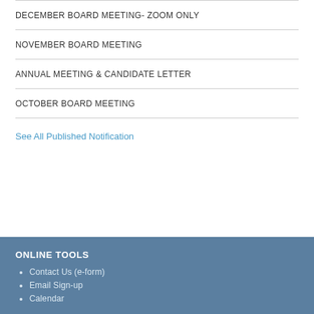DECEMBER BOARD MEETING- ZOOM ONLY
NOVEMBER BOARD MEETING
ANNUAL MEETING & CANDIDATE LETTER
OCTOBER BOARD MEETING
See All Published Notification
ONLINE TOOLS
Contact Us (e-form)
Email Sign-up
Calendar